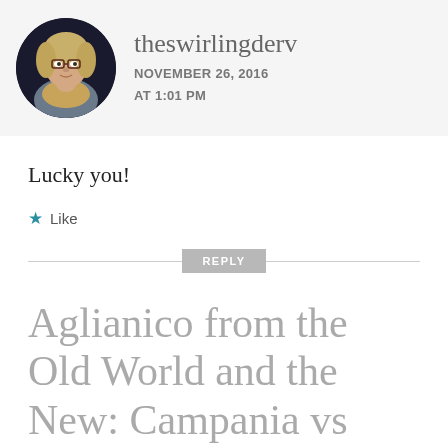[Figure (photo): Circular avatar photo of a blonde woman wearing glasses and a tan scarf, against a dark background]
theswirlingderv
NOVEMBER 26, 2016
AT 1:01 PM
Lucky you!
★ Like
REPLY
Aglianico from the Old World and the New: Campania vs Paso Robles –